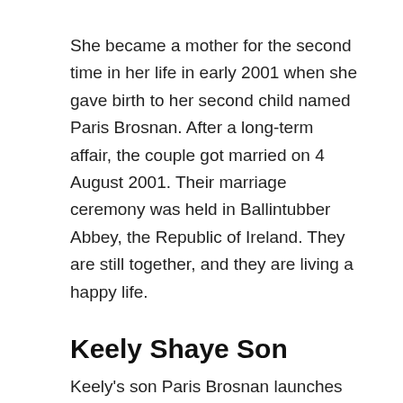She became a mother for the second time in her life in early 2001 when she gave birth to her second child named Paris Brosnan. After a long-term affair, the couple got married on 4 August 2001. Their marriage ceremony was held in Ballintubber Abbey, the Republic of Ireland. They are still together, and they are living a happy life.
Keely Shaye Son
Keely's son Paris Brosnan launches an extreme profanity-laced rant at a waiter who refused to charge his camera in a vile outburst in a London restaurant. In the clip, the teenage son of actor Pierce, 18, issues profanities at a waiter for